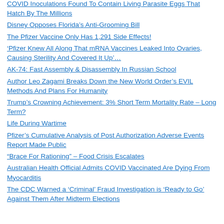COVID Inoculations Found To Contain Living Parasite Eggs That Hatch By The Millions
Disney Opposes Florida’s Anti-Grooming Bill
The Pfizer Vaccine Only Has 1,291 Side Effects!
‘Pfizer Knew All Along That mRNA Vaccines Leaked Into Ovaries, Causing Sterility And Covered It Up’…
AK-74: Fast Assembly & Disassembly In Russian School
Author Leo Zagami Breaks Down the New World Order’s EVIL Methods And Plans For Humanity
Trump’s Crowning Achievement: 3% Short Term Mortality Rate – Long Term?
Life During Wartime
Pfizer’s Cumulative Analysis of Post Authorization Adverse Events Report Made Public
“Brace For Rationing” – Food Crisis Escalates
Australian Health Official Admits COVID Vaccinated Are Dying From Myocarditis
The CDC Warned a ‘Criminal’ Fraud Investigation is ‘Ready to Go’ Against Them After Midterm Elections